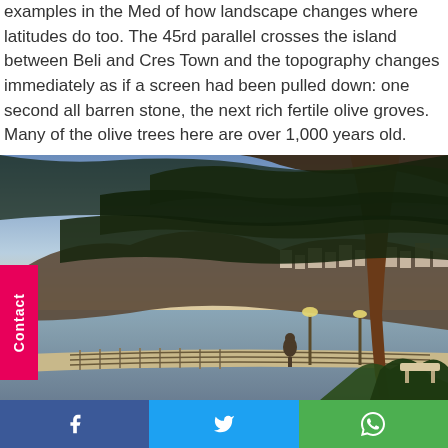examples in the Med of how landscape changes where latitudes do too. The 45rd parallel crosses the island between Beli and Cres Town and the topography changes immediately as if a screen had been pulled down: one second all barren stone, the next rich fertile olive groves. Many of the olive trees here are over 1,000 years old.
[Figure (photo): Coastal Mediterranean scene at dusk with a large pine tree in the foreground, a promenade with iron railings, a statue, street lamps, and a hillside town with buildings in the background across calm water.]
Contact | Facebook | Twitter | WhatsApp